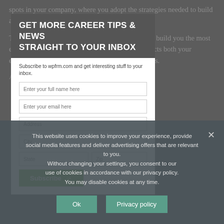spots in your company, where you adopt the strategies needed to build an effective team.
The earlier discussed methods, when adopted, can build you the most effective and healthy team, which positively impacts both your employees and the overall success of your business.
GET MORE CAREER TIPS & NEWS STRAIGHT TO YOUR INBOX
Subscribe to wpfrm.com and get interesting stuff to your inbox.
This website uses cookies to improve your experience, provide social media features and deliver advertising offers that are relevant to you. Without changing your settings, you consent to our use of cookies in accordance with our privacy policy. You may disable cookies at any time.
Ok
Privacy policy